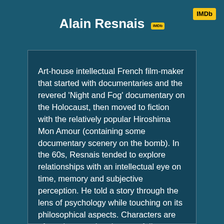[Figure (logo): IMDb logo in top right corner, yellow background with black bold text 'IMDb']
Alain Resnais
Art-house intellectual French film-maker that started with documentaries and the revered 'Night and Fog' documentary on the Holocaust, then moved to fiction with the relatively popular Hiroshima Mon Amour (containing some documentary scenery on the bomb). In the 60s, Resnais tended to explore relationships with an intellectual eye on time, memory and subjective perception. He told a story through the lens of psychology while touching on its philosophical aspects. Characters are often abstracted and events follow non-linear progression towards this intellectual purpose yet the movie retains its accessibility and focus. And this is the magic of Resnais. He achieved what most other art-